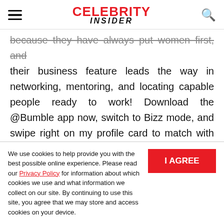Celebrity Insider
because they have always put women first, and their business feature leads the way in networking, mentoring, and locating capable people ready to work! Download the @Bumble app now, switch to Bizz mode, and swipe right on my profile card to match with me. Let's #bumble baby and level up. 😊 #bumblepartner
We use cookies to help provide you with the best possible online experience. Please read our Privacy Policy for information about which cookies we use and what information we collect on our site. By continuing to use this site, you agree that we may store and access cookies on your device.